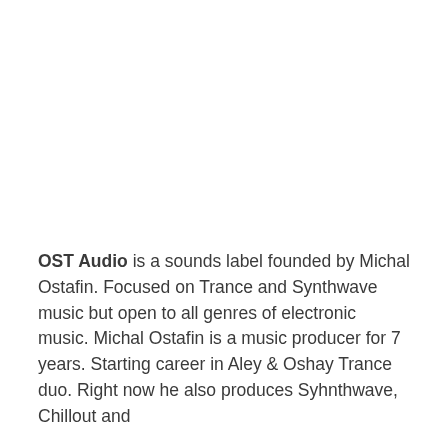OST Audio is a sounds label founded by Michal Ostafin. Focused on Trance and Synthwave music but open to all genres of electronic music. Michal Ostafin is a music producer for 7 years. Starting career in Aley & Oshay Trance duo. Right now he also produces Syhnthwave, Chillout and